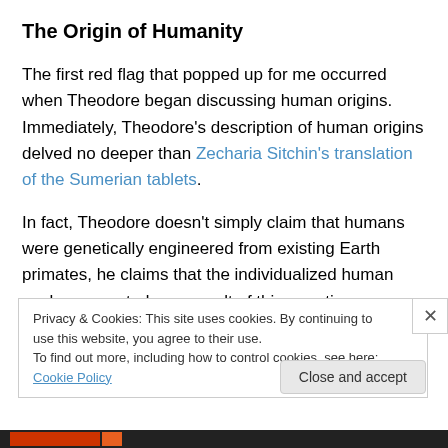The Origin of Humanity
The first red flag that popped up for me occurred when Theodore began discussing human origins. Immediately, Theodore’s description of human origins delved no deeper than Zecharia Sitchin’s translation of the Sumerian tablets.
In fact, Theodore doesn’t simply claim that humans were genetically engineered from existing Earth primates, he claims that the individualized human soul was created as a result of this genetic engineering.
Privacy & Cookies: This site uses cookies. By continuing to use this website, you agree to their use.
To find out more, including how to control cookies, see here: Cookie Policy
Close and accept